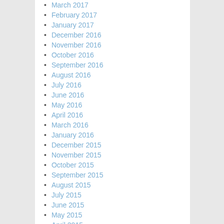March 2017
February 2017
January 2017
December 2016
November 2016
October 2016
September 2016
August 2016
July 2016
June 2016
May 2016
April 2016
March 2016
January 2016
December 2015
November 2015
October 2015
September 2015
August 2015
July 2015
June 2015
May 2015
April 2015